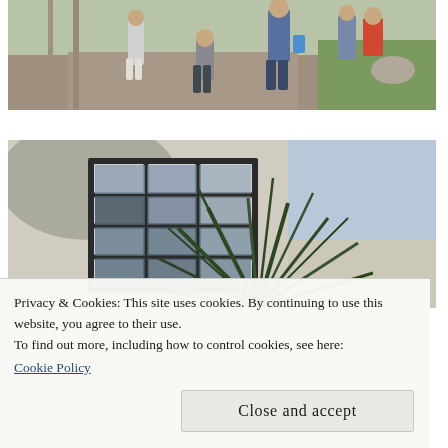[Figure (photo): People walking on a sunny outdoor pathway with grass on the right side. A child in a gray shirt and shorts is in the foreground, adults walking behind.]
[Figure (photo): A building exterior showing a multi-pane dark-framed window on a light stucco wall, with a large spiky plant (yucca or agave) in front and tree shadows on the wall.]
Privacy & Cookies: This site uses cookies. By continuing to use this website, you agree to their use.
To find out more, including how to control cookies, see here:
Cookie Policy
Close and accept